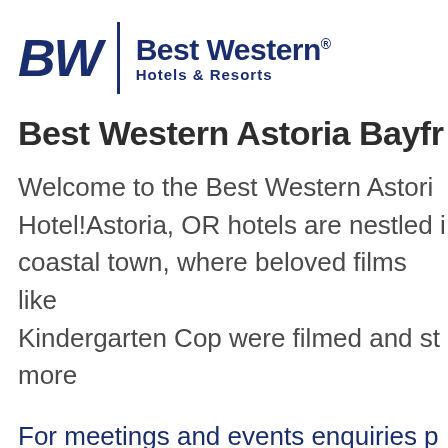[Figure (logo): Best Western Hotels & Resorts logo with BW letters and vertical divider]
Best Western Astoria Bayfr
Welcome to the Best Western Astori Hotel!Astoria, OR hotels are nestled i coastal town, where beloved films like Kindergarten Cop were filmed and st more
For meetings and events enquiries p 387 62 40